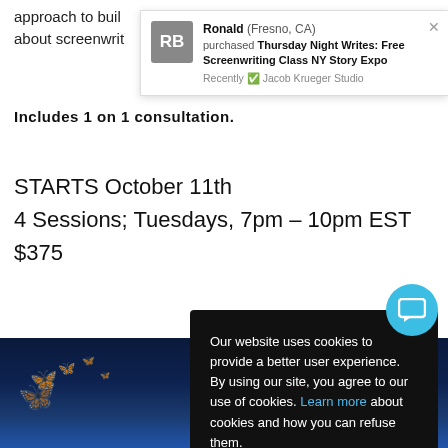approach to build about screenwrite
Includes 1 on 1 consultation.
STARTS October 11th
4 Sessions; Tuesdays, 7pm – 10pm EST
$375
Register
(Need a Payment
Ronald (Fresno, CA) purchased Thursday Night Writes: Free Screenwriting Class NY Story Expo
Recently ✓ Jacob Krueger Studio
Our website uses cookies to provide a better user experience. By using our site, you agree to our use of cookies. Learn more about cookies and how you can refuse them.
ACCEPT & CLOSE
[Figure (photo): Dark blue background with glowing white butterflies, decorative/atmospheric image at bottom of page]